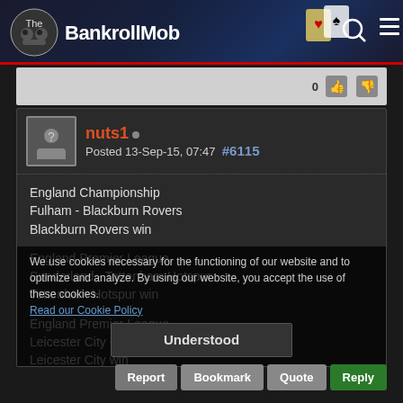The BankrollMob
0
nuts1  Posted 13-Sep-15, 07:47  #6115
England Championship
Fulham - Blackburn Rovers
Blackburn Rovers win

England Premier League
Sunderland - Tottenham Hotspur
Tottenham Hotspur win

England Premier League
Leicester City - Aston Villa
Leicester City win

Italy Serie A
Sassuolo - Atalanta
over 2.5
We use cookies necessary for the functioning of our website and to optimize and analyze. By using our website, you accept the use of these cookies. Read our Cookie Policy
Understood
Report  Bookmark  Quote  Reply